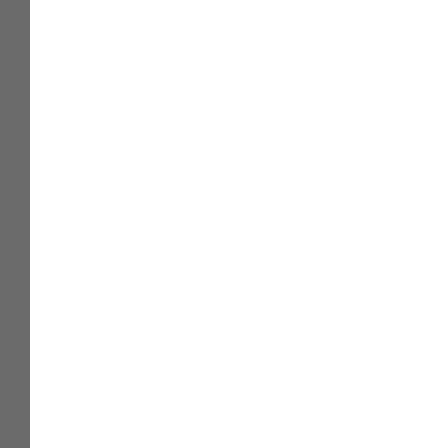Note Thing - The Simplest personal information manager that organizes your tasks, contacts, ideas, problems. Note Thing helps you remember everything about your life on time. You can kep track of your activities, tasks in a fashioned way.
Tree Notes - Easy to use and powerful notes manager